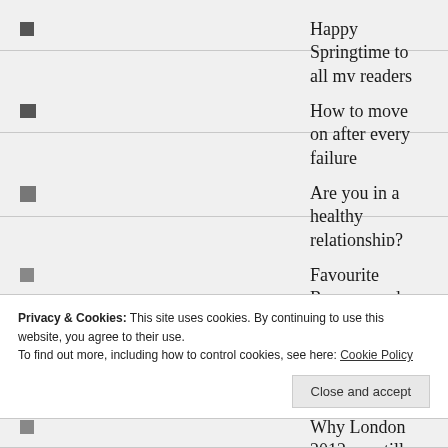Happy Springtime to all my readers
How to move on after every failure
Are you in a healthy relationship?
Favourite Rosacea and Sensitive Skin Creams
How to have long, healthy and ageless hair
Privacy & Cookies: This site uses cookies. By continuing to use this website, you agree to their use.
To find out more, including how to control cookies, see here: Cookie Policy
Why London 2012 are still the best